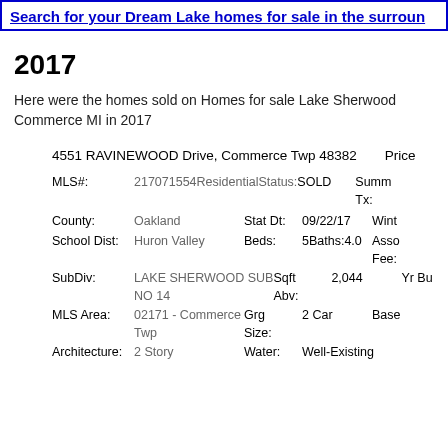Search for your Dream Lake homes for sale in the surroun
2017
Here were the homes sold on Homes for sale Lake Sherwood Commerce MI in 2017
4551 RAVINEWOOD Drive, Commerce Twp 48382   Price
| Field | Value | Field2 | Value2 | Field3 |
| --- | --- | --- | --- | --- |
| MLS#: | 217071554ResidentialStatus: | SOLD | Summ Tx: |  |
| County: | Oakland | Stat Dt: | 09/22/17 | Wint |
| School Dist: | Huron Valley | Beds: | 5Baths:4.0 | Asso Fee: |
| SubDiv: | LAKE SHERWOOD SUB NO 14 | Sqft Abv: | 2,044 | Yr Bu |
| MLS Area: | 02171 - Commerce Twp | Grg Size: | 2 Car | Base |
| Architecture: | 2 Story | Water: | Well-Existing |  |